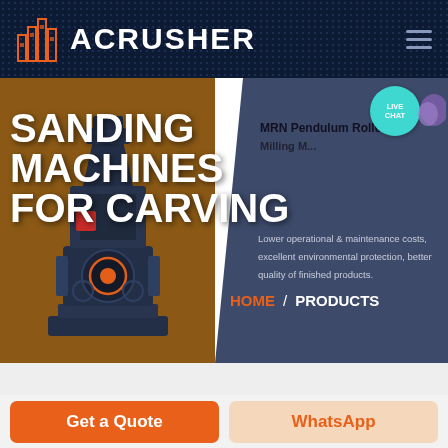[Figure (screenshot): ACRUSHER website header with dark navy blue dotted background, orange building logo icon, white ACRUSHER text, and hamburger menu icon on the right]
SANDING MACHINES FOR CARVING
[Figure (photo): Industrial grinding/milling machine (MRN Pendulum Roller type) rendered in dark blue tones against brownish-orange and slate blue background]
MRN Pendulum Roller Milling M...
Lower operational & maintenance costs, excellent environmental protection, better quality of finished products.
HOME / PRODUCTS
LIVE CHAT
Get a Quote
WhatsApp